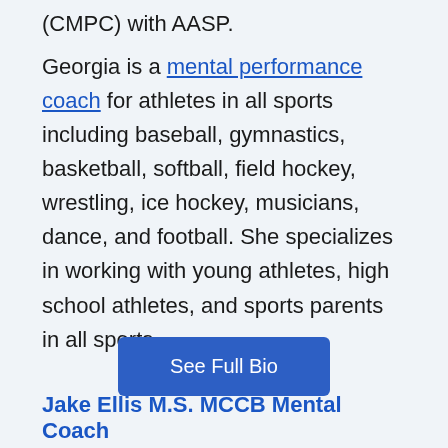(CMPC) with AASP.
Georgia is a mental performance coach for athletes in all sports including baseball, gymnastics, basketball, softball, field hockey, wrestling, ice hockey, musicians, dance, and football. She specializes in working with young athletes, high school athletes, and sports parents in all sports.
See Full Bio
Jake Ellis M.S. MCCB Mental Coach